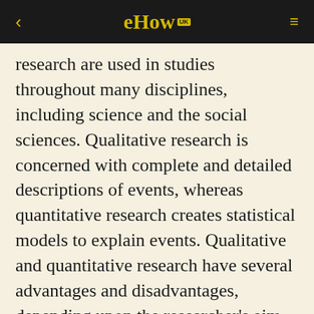eHow
research are used in studies throughout many disciplines, including science and the social sciences. Qualitative research is concerned with complete and detailed descriptions of events, whereas quantitative research creates statistical models to explain events. Qualitative and quantitative research have several advantages and disadvantages, depending upon the researcher's aim and area of focus.